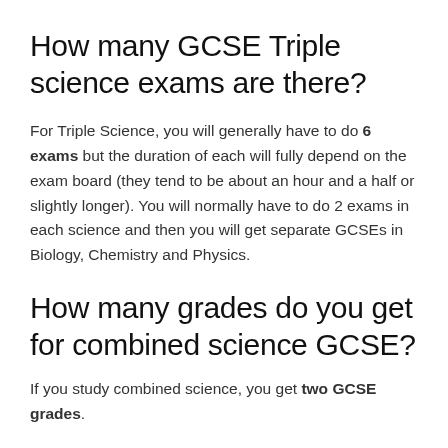How many GCSE Triple science exams are there?
For Triple Science, you will generally have to do 6 exams but the duration of each will fully depend on the exam board (they tend to be about an hour and a half or slightly longer). You will normally have to do 2 exams in each science and then you will get separate GCSEs in Biology, Chemistry and Physics.
How many grades do you get for combined science GCSE?
If you study combined science, you get two GCSE grades.